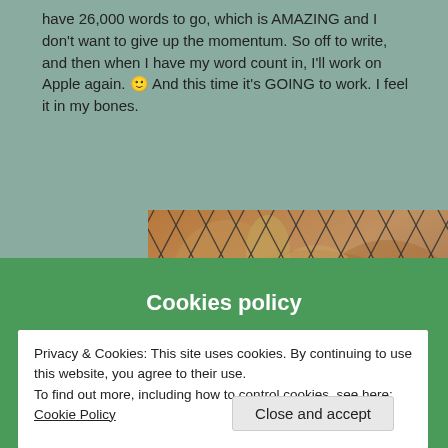have 26,000 words to go, which is AMAZING and I don't want to give up the momentum. So off to write, and then when I have my word count in, I'll work on Apple again. 🙂 And this time it's GOING to work. I feel it in my bones.
[Figure (photo): Close-up photo of an animal (appears to be a deer or kangaroo) viewed through a chain-link fence, with brown fur visible behind the diamond-pattern wire mesh.]
Cookies policy
Privacy & Cookies: This site uses cookies. By continuing to use this website, you agree to their use.
To find out more, including how to control cookies, see here: Cookie Policy